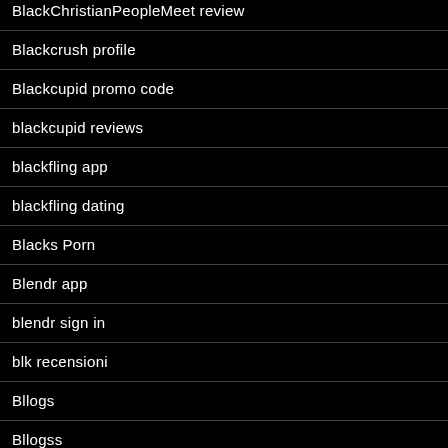BlackChristianPeopleMeet review
Blackcrush profile
Blackcupid promo code
blackcupid reviews
blackfling app
blackfling dating
Blacks Porn
Blendr app
blendr sign in
blk recensioni
Bllogs
Bllogss
Blloogs